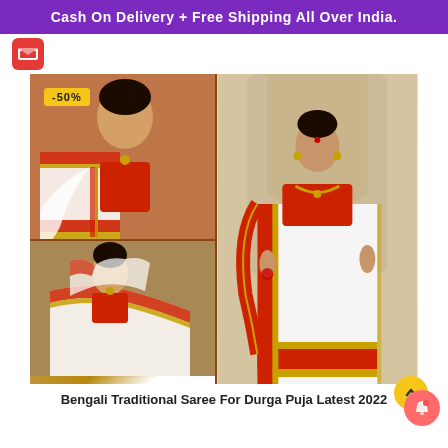Cash On Delivery + Free Shipping All Over India.
[Figure (photo): Product listing image of Bengali Traditional Saree for Durga Puja. Collage of three photos: top-left shows close-up of woman wearing white saree with red and gold border; bottom-left shows woman seated wearing same saree with text 'it's a classic'; right shows full-length woman wearing white traditional Bengali saree with red and gold border. A -50% discount badge is shown on top-left corner.]
Bengali Traditional Saree For Durga Puja Latest 2022